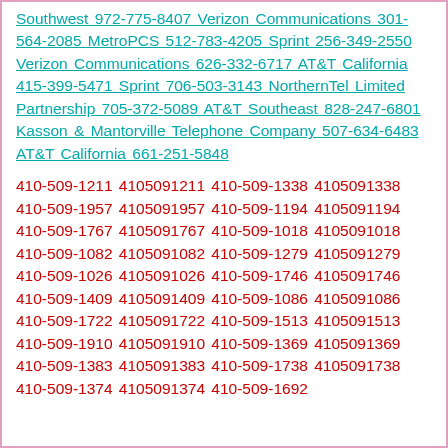Southwest 972-775-8407 Verizon Communications 301-564-2085 MetroPCS 512-783-4205 Sprint 256-349-2550 Verizon Communications 626-332-6717 AT&T California 415-399-5471 Sprint 706-503-3143 NorthernTel Limited Partnership 705-372-5089 AT&T Southeast 828-247-6801 Kasson & Mantorville Telephone Company 507-634-6483 AT&T California 661-251-5848
410-509-1211 4105091211 410-509-1338 4105091338 410-509-1957 4105091957 410-509-1194 4105091194 410-509-1767 4105091767 410-509-1018 4105091018 410-509-1082 4105091082 410-509-1279 4105091279 410-509-1026 4105091026 410-509-1746 4105091746 410-509-1409 4105091409 410-509-1086 4105091086 410-509-1722 4105091722 410-509-1513 4105091513 410-509-1910 4105091910 410-509-1369 4105091369 410-509-1383 4105091383 410-509-1738 4105091738 410-509-1374 4105091374 410-509-1692